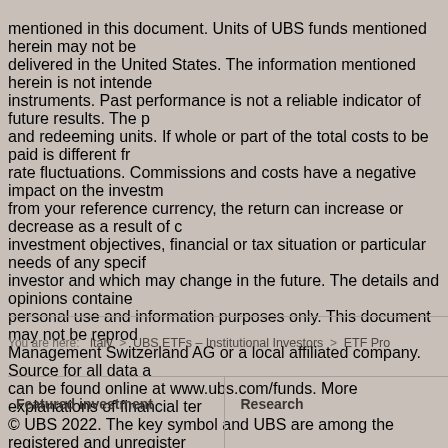mentioned in this document. Units of UBS funds mentioned herein may not be delivered in the United States. The information mentioned herein is not intended instruments. Past performance is not a reliable indicator of future results. The p and redeeming units. If whole or part of the total costs to be paid is different fr rate fluctuations. Commissions and costs have a negative impact on the investm from your reference currency, the return can increase or decrease as a result of c investment objectives, financial or tax situation or particular needs of any specif investor and which may change in the future. The details and opinions containe personal use and information purposes only. This document may not be reprod Management Switzerland AG or a local affiliated company. Source for all data a can be found online at www.ubs.com/funds. More explanations of financial ter © UBS 2022. The key symbol and UBS are among the registered and unregister
You are here:  Italy  >  UBS ETFs – Institutional Investors  >  ETF Pro
Featured investment
Research